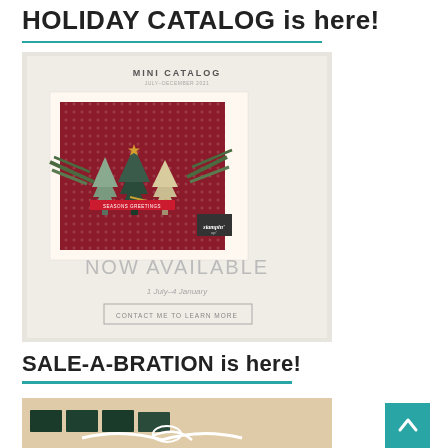HOLIDAY CATALOG is here!
[Figure (illustration): Stampin' Up! Mini Catalog promotional image showing a holiday greeting card with Christmas trees on a red background, pine branches, NOW AVAILABLE text, date range 1 July-4 January, and a CONTACT ME TO LEARN MORE button]
SALE-A-BRATION is here!
[Figure (photo): Partial photo showing stamp sets and ribbon on a beige/tan background]